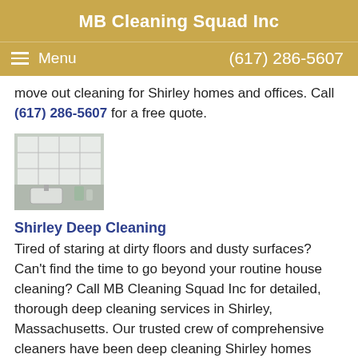MB Cleaning Squad Inc
Menu   (617) 286-5607
move out cleaning for Shirley homes and offices. Call (617) 286-5607 for a free quote.
[Figure (photo): Bathroom interior photo, white tiles and fixtures]
Shirley Deep Cleaning
Tired of staring at dirty floors and dusty surfaces? Can't find the time to go beyond your routine house cleaning? Call MB Cleaning Squad Inc for detailed, thorough deep cleaning services in Shirley, Massachusetts. Our trusted crew of comprehensive cleaners have been deep cleaning Shirley homes since 2004.
[Figure (photo): Office interior photo, bright modern space]